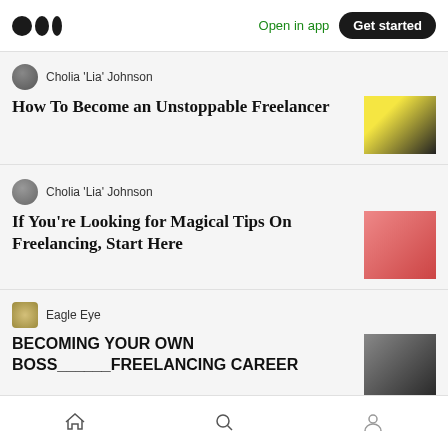Medium logo | Open in app | Get started
Cholia 'Lia' Johnson
How To Become an Unstoppable Freelancer
Cholia 'Lia' Johnson
If You're Looking for Magical Tips On Freelancing, Start Here
Eagle Eye
BECOMING YOUR OWN BOSS______FREELANCING CAREER
Bernie J Mitchell
How To Grow A Website In Under Two
Home | Search | Profile